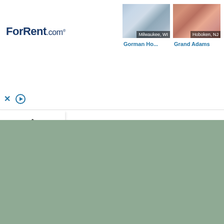[Figure (screenshot): ForRent.com advertisement banner showing two rental property cards. Left card shows a white house in Milwaukee, WI labeled 'Gorman Ho...' Right card shows a building exterior in Hoboken, NJ labeled 'Grand Adams'. Below the cards are close (X) and play buttons.]
Gorman Ho...
Grand Adams
[Figure (map): Muted green/sage colored map background filling the lower portion of the page]